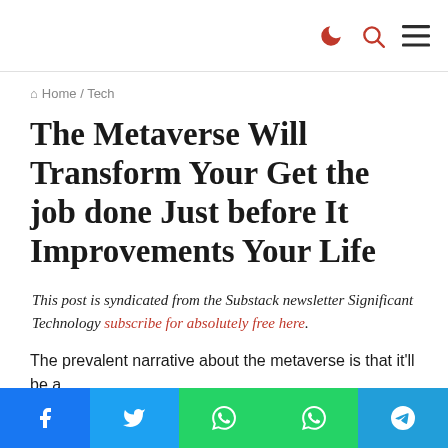navigation icons: moon, search, menu
Home / Tech
The Metaverse Will Transform Your Get the job done Just before It Improvements Your Life
This post is syndicated from the Substack newsletter Significant Technology subscribe for absolutely free here.
The prevalent narrative about the metaverse is that it'll be a
Social share buttons: Facebook, Twitter, WhatsApp, WhatsApp, Telegram